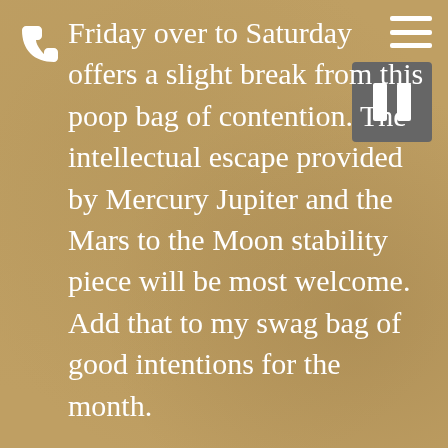Friday over to Saturday offers a slight break from this poop bag of contention. The intellectual escape provided by Mercury Jupiter and the Mars to the Moon stability piece will be most welcome. Add that to my swag bag of good intentions for the month.
December 13 –19 Monday's aspects outshine the rest of the week, then it changes. The impact of Wednesday's Mars landing on south node Ketu carries a karmic element to it, overshadowing some powerful reactivity around the globe. Russia lining up forces against Ukraine? It's a watch and beware serious moment. We might wear all black and become to the embodiment of something of